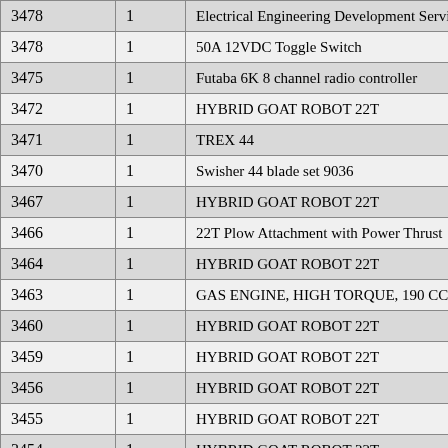| 3478 | 1 | Electrical Engineering Development Services |
| 3478 | 1 | 50A 12VDC Toggle Switch |
| 3475 | 1 | Futaba 6K 8 channel radio controller |
| 3472 | 1 | HYBRID GOAT ROBOT 22T |
| 3471 | 1 | TREX 44 |
| 3470 | 1 | Swisher 44 blade set 9036 |
| 3467 | 1 | HYBRID GOAT ROBOT 22T |
| 3466 | 1 | 22T Plow Attachment with Power Thrust |
| 3464 | 1 | HYBRID GOAT ROBOT 22T |
| 3463 | 1 | GAS ENGINE, HIGH TORQUE, 190 CC FOR 2 |
| 3460 | 1 | HYBRID GOAT ROBOT 22T |
| 3459 | 1 | HYBRID GOAT ROBOT 22T |
| 3456 | 1 | HYBRID GOAT ROBOT 22T |
| 3455 | 1 | HYBRID GOAT ROBOT 22T |
| 3454 | 1 | HYBRID GOAT ROBOT 22T |